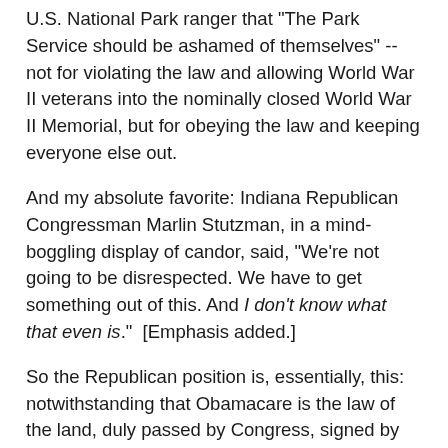U.S. National Park ranger that "The Park Service should be ashamed of themselves" -- not for violating the law and allowing World War II veterans into the nominally closed World War II Memorial, but for obeying the law and keeping everyone else out.
And my absolute favorite: Indiana Republican Congressman Marlin Stutzman, in a mind-boggling display of candor, said, "We're not going to be disrespected. We have to get something out of this. And I don't know what that even is." [Emphasis added.]
So the Republican position is, essentially, this: notwithstanding that Obamacare is the law of the land, duly passed by Congress, signed by the president, and ruled constitutional by the Supreme Court, the provision of health insurance to the people presents such a clear and present danger to the United States of America that it must be stopped by any means necessary.  We cannot even afford to wait for the next election to roll back this law, it has to be done right now.  They don't have the votes to repeal the law through the normal democratic process, so the only option